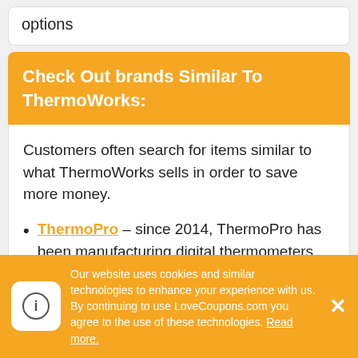options
Check Out brands Similar To ThermoWorks:
Customers often search for items similar to what ThermoWorks sells in order to save more money.
ThermoPro – since 2014, ThermoPro has been manufacturing digital thermometers. Just like ThermoWorks ThermoPro has some amazing products that will bring you more joy and productivity with all your projects when using such thermometers
Our website uses cookies and similar technologies to enhance your experience with us. By continuing to use LoveCoupons.com you agree to the use of these technologies. Read more.